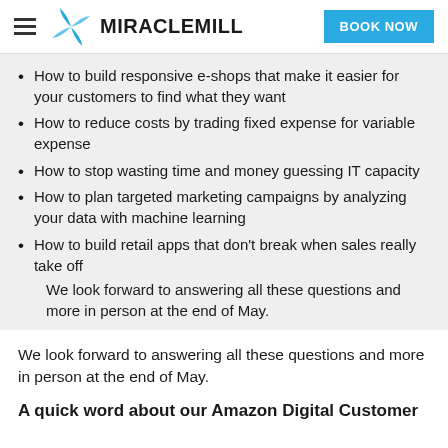MIRACLEMILL | BOOK NOW
How to build responsive e-shops that make it easier for your customers to find what they want
How to reduce costs by trading fixed expense for variable expense
How to stop wasting time and money guessing IT capacity
How to plan targeted marketing campaigns by analyzing your data with machine learning
How to build retail apps that don’t break when sales really take off
We look forward to answering all these questions and more in person at the end of May.
We look forward to answering all these questions and more in person at the end of May.
A quick word about our Amazon Digital Customer